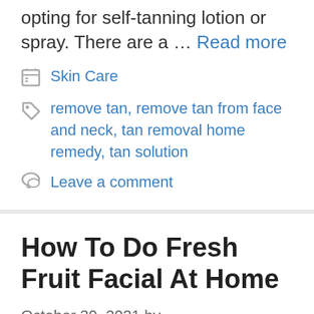opting for self-tanning lotion or spray. There are a … Read more
Skin Care
remove tan, remove tan from face and neck, tan removal home remedy, tan solution
Leave a comment
How To Do Fresh Fruit Facial At Home
October 30, 2021 by